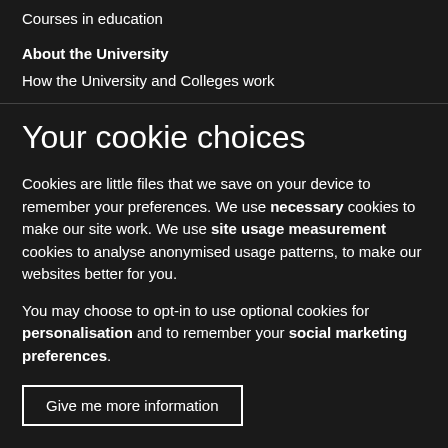Courses in education
About the University
How the University and Colleges work
Your cookie choices
Cookies are little files that we save on your device to remember your preferences. We use necessary cookies to make our site work. We use site usage measurement cookies to analyse anonymised usage patterns, to make our websites better for you.
You may choose to opt-in to use optional cookies for personalisation and to remember your social marketing preferences.
Give me more information